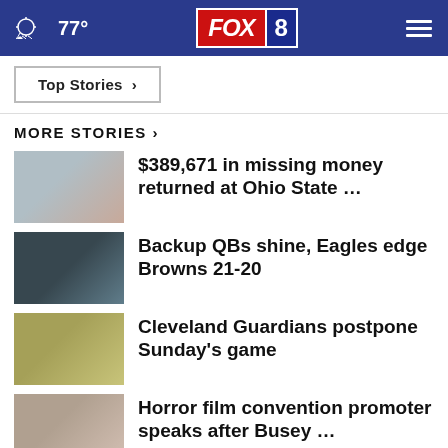FOX 8 — 77° weather
Top Stories ›
MORE STORIES ›
[Figure (photo): Two people standing together outdoors]
$389,671 in missing money returned at Ohio State …
[Figure (photo): Football player action shot]
Backup QBs shine, Eagles edge Browns 21-20
[Figure (photo): Cleveland Guardians mascot or related image]
Cleveland Guardians postpone Sunday's game
[Figure (photo): Close-up of a man's face]
Horror film convention promoter speaks after Busey …
[Figure (photo): Red microscopic virus image]
Counties with the highest COVID-19 death rate in